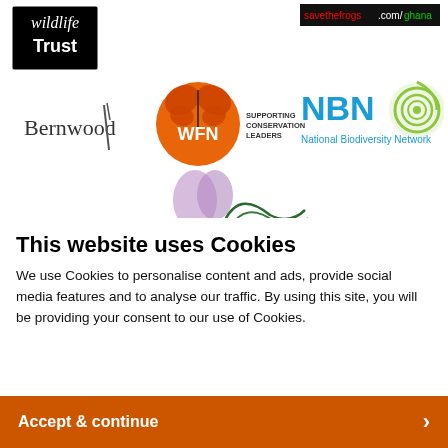[Figure (logo): Wildlife Trust logo - black box with white handwritten text 'wildlife Trust']
[Figure (logo): savethefrogs.com/ghana - text on black and green background]
[Figure (logo): Bernwood - text logo with stylized pen/feather]
[Figure (logo): WFN - orange circle with butterfly, text 'SUPPORTING CONSERVATION LEADERS']
[Figure (logo): NBN National Biodiversity Network - blue text with green leaf spiral logo]
[Figure (illustration): Partial illustration of plants/nature at bottom of top section]
This website uses Cookies
We use Cookies to personalise content and ads, provide social media features and to analyse our traffic. By using this site, you will be providing your consent to our use of Cookies.
Accept & continue